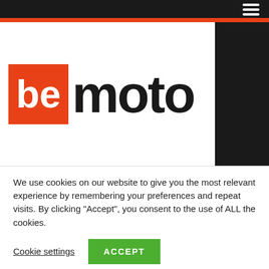bemoto navigation header
[Figure (logo): BeMoto logo — red square with white 'be' text followed by black bold 'moto' text]
[Figure (logo): White Dalton dealer logo — partially visible green italic cursive text partially cut off at bottom]
We use cookies on our website to give you the most relevant experience by remembering your preferences and repeat visits. By clicking "Accept", you consent to the use of ALL the cookies.
Cookie settings
ACCEPT